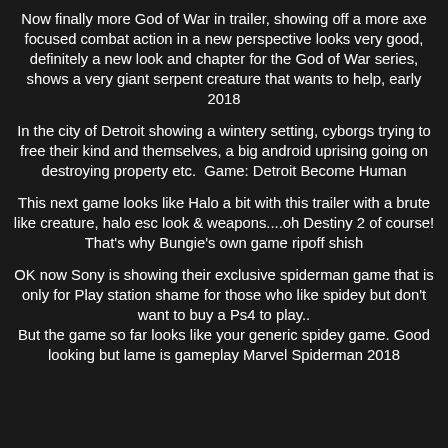Now finally more God of War in trailer, showing off a more axe focused combat action in a new perspective looks very good, definitely a new look and chapter for the God of War series, shows a very giant serpent creature that wants to help, early 2018
In the city of Detroit showing a wintery setting, cyborgs trying to free their kind and themselves, a big android uprising going on destroying property etc.  Game: Detroit Become Human
This next game looks like Halo a bit with this trailer with a brute like creature, halo esc look & weapons....oh Destiny 2 of course! That's why Bungie's own game ripoff shish
OK now Sony is showing their exclusive spiderman game that is only for Play station shame for those who like spidey but don't want to buy a Ps4 to play.. But the game so far looks like your generic spidey game. Good looking but lame is gameplay Marvel Spiderman 2018